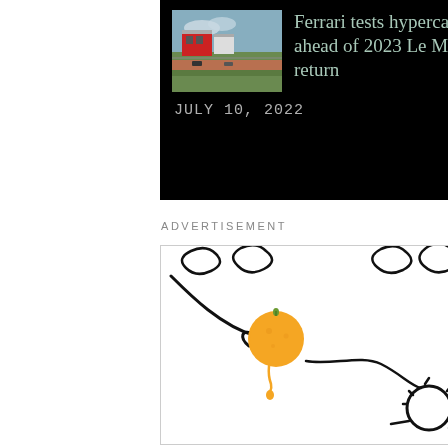[Figure (photo): News card with black background showing a racetrack aerial photo thumbnail on the left and article title text on the right, with date below]
Ferrari tests hypercar racer ahead of 2023 Le Mans return
JULY 10, 2022
ADVERTISEMENT
[Figure (illustration): Advertisement illustration showing a cartoon hand squeezing an orange with juice dropping, and a sun symbol drawn in line art style on white background]